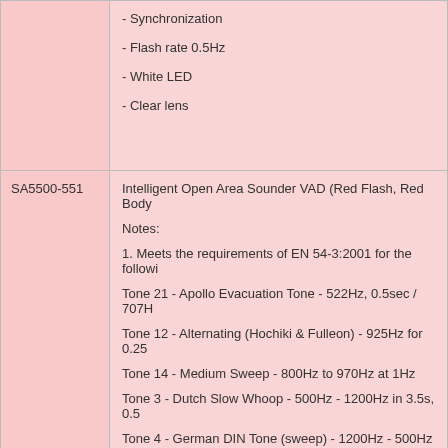| Part Number | Description |
| --- | --- |
|  | - Synchronization
- Flash rate 0.5Hz
- White LED
- Clear lens |
| SA5500-551 | Intelligent Open Area Sounder VAD (Red Flash, Red Body)

Notes:

1. Meets the requirements of EN 54-3:2001 for the following tones:

Tone 21 - Apollo Evacuation Tone - 522Hz, 0.5sec / 707Hz...
Tone 12 - Alternating (Hochiki & Fulleon) - 925Hz for 0.25...
Tone 14 - Medium Sweep - 800Hz to 970Hz at 1Hz
Tone 3 - Dutch Slow Whoop - 500Hz - 1200Hz in 3.5s, 0.5...
Tone 4 - German DIN Tone (sweep) - 1200Hz - 500Hz ove...
Tone 18 - Swedish Fire Tone - 660Hz, 150ms on, 150ms...
Tone 22 - Apollo Alert Tone - 1s off, 850Hz for 1s |